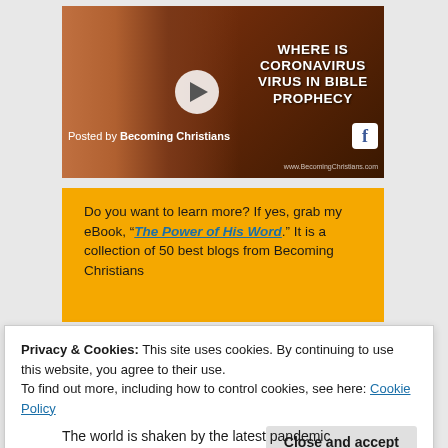[Figure (screenshot): Video thumbnail showing a young man, with title text 'WHERE IS CORONAVIRUS VIRUS IN BIBLE PROPHECY', a play button, and 'Posted by Becoming Christians' with Facebook icon and www.BecomingChristians.com URL]
Do you want to learn more? If yes, grab my eBook, “The Power of His Word.” It is a collection of 50 best blogs from Becoming Christians
Privacy & Cookies: This site uses cookies. By continuing to use this website, you agree to their use.
To find out more, including how to control cookies, see here: Cookie Policy
Close and accept
The world is shaken by the latest pandemic